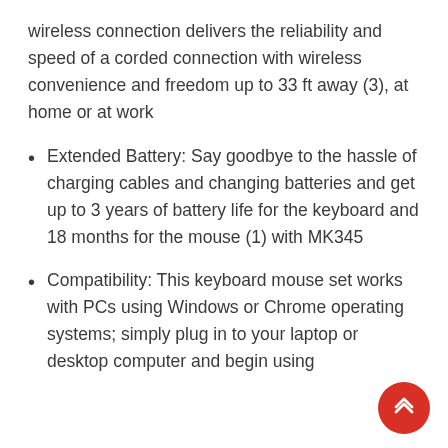wireless connection delivers the reliability and speed of a corded connection with wireless convenience and freedom up to 33 ft away (3), at home or at work
Extended Battery: Say goodbye to the hassle of charging cables and changing batteries and get up to 3 years of battery life for the keyboard and 18 months for the mouse (1) with MK345
Compatibility: This keyboard mouse set works with PCs using Windows or Chrome operating systems; simply plug in to your laptop or desktop computer and begin using